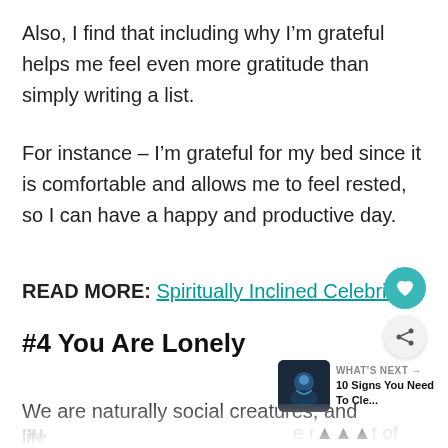Also, I find that including why I’m grateful helps me feel even more gratitude than simply writing a list.
For instance – I’m grateful for my bed since it is comfortable and allows me to feel rested, so I can have a happy and productive day.
READ MORE: Spiritually Inclined Celebrities
#4 You Are Lonely
We are naturally social creatures, and